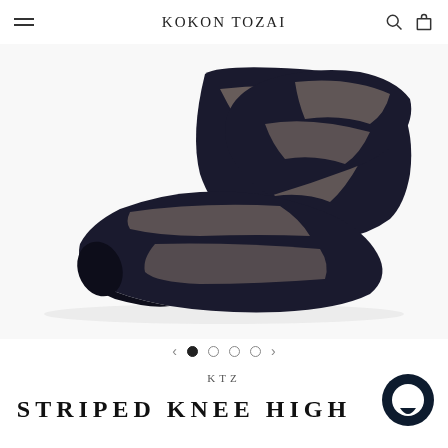KOKON TOZAI
[Figure (photo): Two striped knee-high socks with black and semi-transparent sheer stripes, laid flat on a white background, showing the foot and lower leg portion.]
KTZ
STRIPED KNEE HIGH